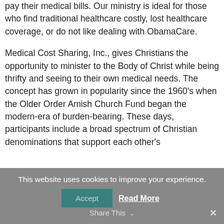pay their medical bills. Our ministry is ideal for those who find traditional healthcare costly, lost healthcare coverage, or do not like dealing with ObamaCare.
Medical Cost Sharing, Inc., gives Christians the opportunity to minister to the Body of Christ while being thrifty and seeing to their own medical needs. The concept has grown in popularity since the 1960’s when the Older Order Amish Church Fund began the modern-era of burden-bearing. These days, participants include a broad spectrum of Christian denominations that support each other’s
This website uses cookies to improve your experience.
Accept   Read More
Share This